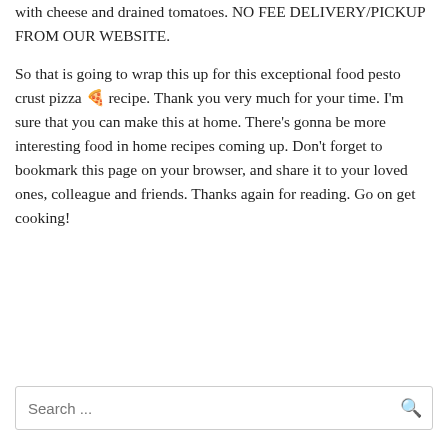with cheese and drained tomatoes. NO FEE DELIVERY/PICKUP FROM OUR WEBSITE.
So that is going to wrap this up for this exceptional food pesto crust pizza 🍕 recipe. Thank you very much for your time. I'm sure that you can make this at home. There's gonna be more interesting food in home recipes coming up. Don't forget to bookmark this page on your browser, and share it to your loved ones, colleague and friends. Thanks again for reading. Go on get cooking!